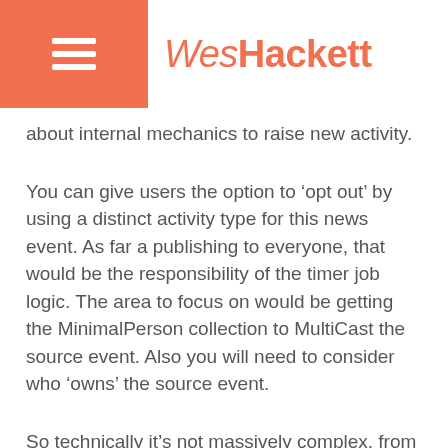WesHackett
about internal mechanics to raise new activity.
You can give users the option to ‘opt out’ by using a distinct activity type for this news event. As far a publishing to everyone, that would be the responsibility of the timer job logic. The area to focus on would be getting the MinimalPerson collection to MultiCast the source event. Also you will need to consider who ‘owns’ the source event.
So technically it’s not massively complex, from a solution view point I guess it’s down to the client requirement. It does seem reasonable to use the feed for